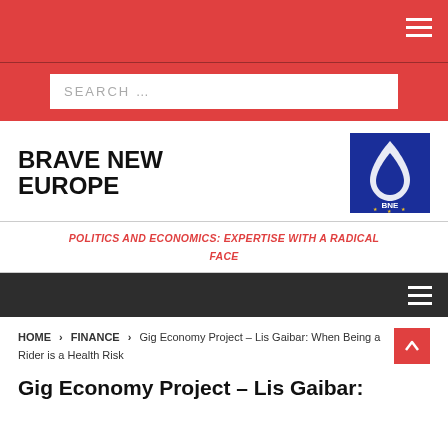SEARCH …
BRAVE NEW EUROPE
[Figure (logo): BNE Brave New Europe logo — blue background with white flame/droplet icon and BNE text with EU stars]
POLITICS AND ECONOMICS: EXPERTISE WITH A RADICAL FACE
HOME > FINANCE > Gig Economy Project – Lis Gaibar: When Being a Rider is a Health Risk
Gig Economy Project – Lis Gaibar: